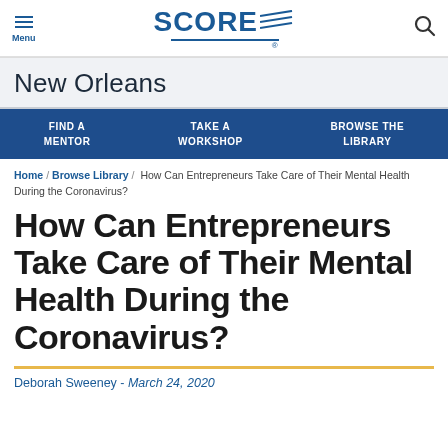[Figure (logo): SCORE logo with blue text and decorative wave stripes underneath, shown in the top navigation bar]
New Orleans
FIND A MENTOR  /  TAKE A WORKSHOP  /  BROWSE THE LIBRARY
Home / Browse Library / How Can Entrepreneurs Take Care of Their Mental Health During the Coronavirus?
How Can Entrepreneurs Take Care of Their Mental Health During the Coronavirus?
Deborah Sweeney - March 24, 2020